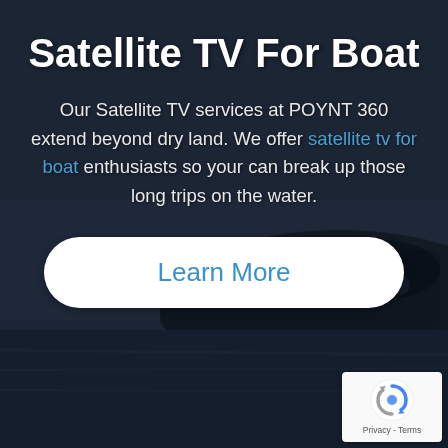Satellite TV For Boat
Our Satellite TV services at POYNT 360 extend beyond dry land. We offer satellite tv for boat enthusiasts so your can break up those long trips on the water.
[Figure (other): Learn More button - white rounded rectangle with blue text]
[Figure (logo): Google reCAPTCHA badge with circular arrow logo and Privacy - Terms text]